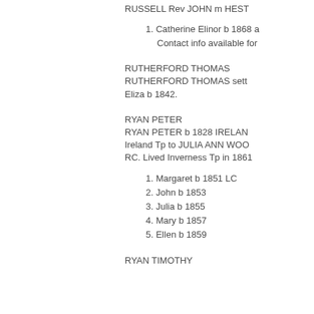RUSSELL Rev JOHN m HEST
1. Catherine Elinor b 1868 a
Contact info available for
RUTHERFORD THOMAS
RUTHERFORD THOMAS sett Eliza b 1842.
RYAN PETER
RYAN PETER b 1828 IRELAN Ireland Tp to JULIA ANN WOO RC. Lived Inverness Tp in 1861
1. Margaret b 1851 LC
2. John b 1853
3. Julia b 1855
4. Mary b 1857
5. Ellen b 1859
RYAN TIMOTHY